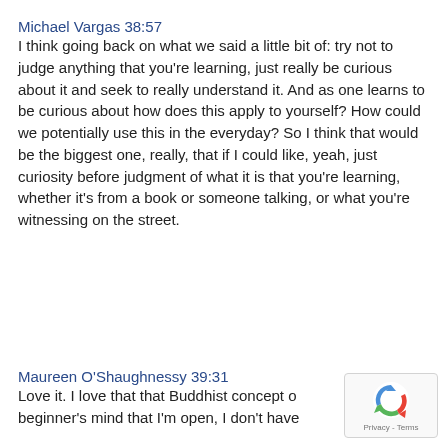Michael Vargas 38:57
I think going back on what we said a little bit of: try not to judge anything that you're learning, just really be curious about it and seek to really understand it. And as one learns to be curious about how does this apply to yourself? How could we potentially use this in the everyday? So I think that would be the biggest one, really, that if I could like, yeah, just curiosity before judgment of what it is that you're learning, whether it's from a book or someone talking, or what you're witnessing on the street.
Maureen O'Shaughnessy 39:31
Love it. I love that that Buddhist concept o... beginner's mind that I'm open, I don't have...
[Figure (logo): reCAPTCHA badge with circular arrow logo and Privacy - Terms text]